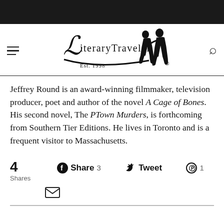[Figure (logo): Literary Traveler logo with silhouette of two travelers, Est. 1998]
Jeffrey Round is an award-winning filmmaker, television producer, poet and author of the novel A Cage of Bones. His second novel, The PTown Murders, is forthcoming from Southern Tier Editions. He lives in Toronto and is a frequent visitor to Massachusetts.
4 Shares  Share 3  Tweet  1  [email icon]